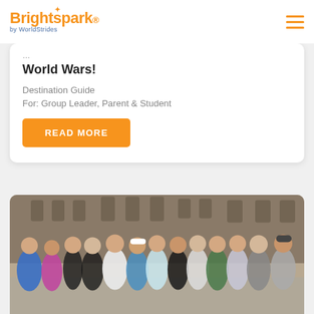Brightspark by WorldStrides
World Wars!
Destination Guide
For:  Group Leader, Parent & Student
READ MORE
[Figure (photo): Group of teenage students smiling and posing in front of a gothic stone building, likely a parliament or university building. About 13 students of various ages, some waving at camera, outdoors in warm light.]